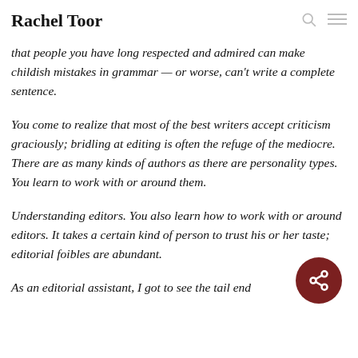Rachel Toor
that people you have long respected and admired can make childish mistakes in grammar — or worse, can't write a complete sentence.
You come to realize that most of the best writers accept criticism graciously; bridling at editing is often the refuge of the mediocre. There are as many kinds of authors as there are personality types. You learn to work with or around them.
Understanding editors. You also learn how to work with or around editors. It takes a certain kind of person to trust his or her taste; editorial foibles are abundant.
As an editorial assistant, I got to see the tail end